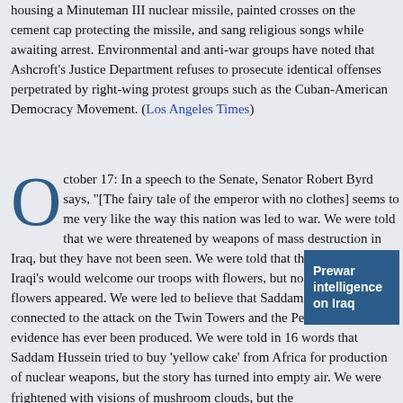housing a Minuteman III nuclear missile, painted crosses on the cement cap protecting the missile, and sang religious songs while awaiting arrest. Environmental and anti-war groups have noted that Ashcroft's Justice Department refuses to prosecute identical offenses perpetrated by right-wing protest groups such as the Cuban-American Democracy Movement. (Los Angeles Times)
October 17: In a speech to the Senate, Senator Robert Byrd says, "[The fairy tale of the emperor with no clothes] seems to me very like the way this nation was led to war. We were told that we were threatened by weapons of mass destruction in Iraq, but they have not been seen. We were told that the throngs of Iraqi's would welcome our troops with flowers, but no throngs or flowers appeared. We were led to believe that Saddam Hussein was connected to the attack on the Twin Towers and the Pentagon, but no evidence has ever been produced. We were told in 16 words that Saddam Hussein tried to buy 'yellow cake' from Africa for production of nuclear weapons, but the story has turned into empty air. We were frightened with visions of mushroom clouds, but the
[Figure (other): Blue sidebar box with white bold text reading 'Prewar intelligence on Iraq']